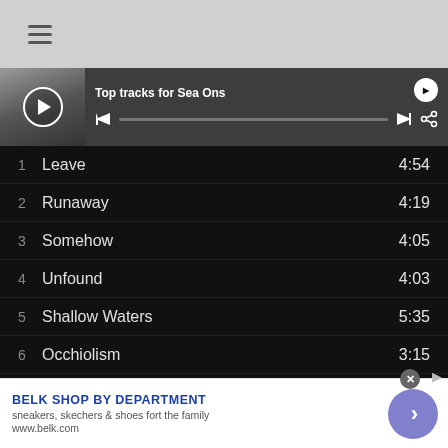[Figure (screenshot): Top navigation bar with hamburger menu icon on grey background]
Top tracks for Sea Ons
1  Leave  4:54
2  Runaway  4:19
3  Somehow  4:05
4  Unfound  4:03
5  Shallow Waters  5:35
6  Occhiolism  3:15
7  Strawberry...  4:06
BELK SHOP BY DEPARTMENT
sneakers, skechers & shoes fort the family
www.belk.com